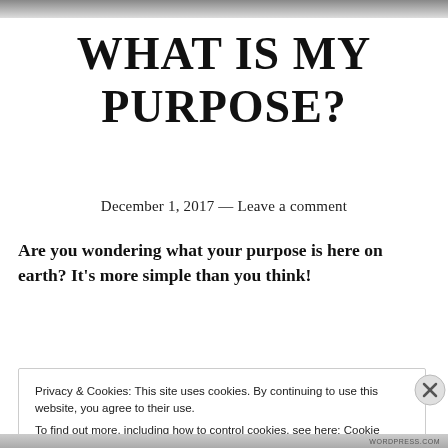WHAT IS MY PURPOSE?
December 1, 2017 — Leave a comment
Are you wondering what your purpose is here on earth? It's more simple than you think!
Privacy & Cookies: This site uses cookies. By continuing to use this website, you agree to their use. To find out more, including how to control cookies, see here: Cookie Policy